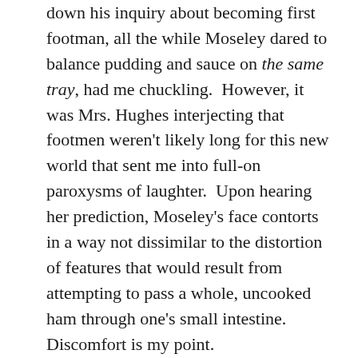down his inquiry about becoming first footman, all the while Moseley dared to balance pudding and sauce on the same tray, had me chuckling.  However, it was Mrs. Hughes interjecting that footmen weren't likely long for this new world that sent me into full-on paroxysms of laughter.  Upon hearing her prediction, Moseley's face contorts in a way not dissimilar to the distortion of features that would result from attempting to pass a whole, uncooked ham through one's small intestine.  Discomfort is my point.
On top of that truthbomb, Moseley knows that Baxter is keeping secrets from him, and he struggles to keep his frustration tamped down until he must do this in secret, his and...